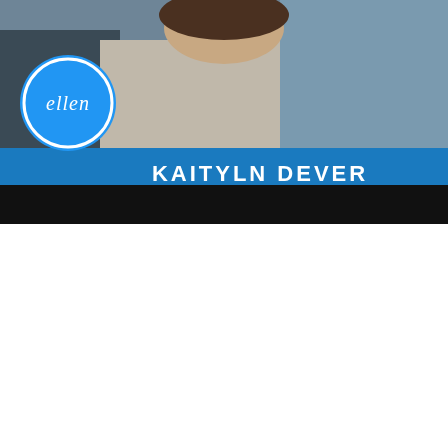[Figure (screenshot): Screenshot of The Ellen DeGeneres Show featuring guest Kaityln Dever. The image shows a woman (Kaityln Dever) seated, with a blue lower-third graphic banner. The banner has the Ellen show circular logo on the left (white circle with 'ellen' in blue text) and the name 'KAITYLN DEVER' displayed in bold white capital letters on a blue background. The lower portion of the image is a black letterbox bar.]